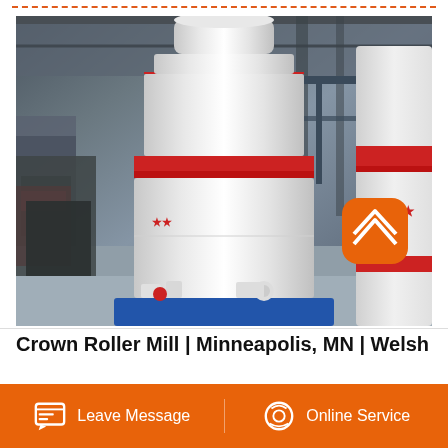[Figure (photo): Industrial roller mill machine (white cylindrical grinding mill with red band, blue base) in a factory/warehouse setting. Multiple mill units visible. Orange back-to-top button overlay in lower right.]
Crown Roller Mill | Minneapolis, MN | Welsh
Leave Message   Online Service